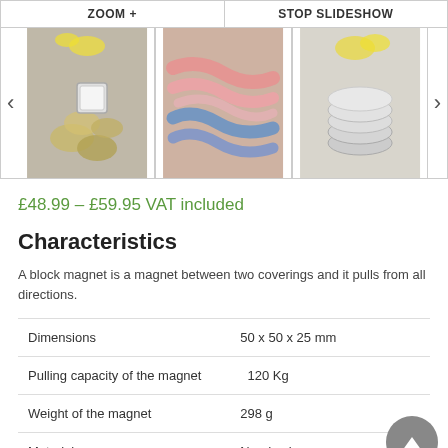[Figure (screenshot): Toolbar with ZOOM + and STOP SLIDESHOW buttons]
[Figure (photo): Slideshow with three product images: magnets with coins, colorful ropes/threads, and stacked metallic discs with flowers]
£48.99 – £59.95 VAT included
Characteristics
A block magnet is a magnet between two coverings and it pulls from all directions.
| Dimensions | 50 x 50 x 25 mm |
| Pulling capacity of the magnet | 120 Kg |
| Weight of the magnet | 298 g |
| Material | Neodymium |